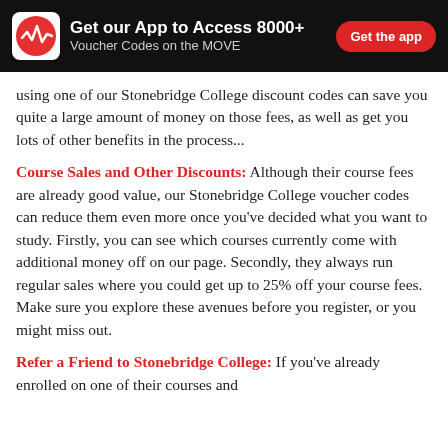Get our App to Access 8000+ Voucher Codes on the MOVE | Get the app
using one of our Stonebridge College discount codes can save you quite a large amount of money on those fees, as well as get you lots of other benefits in the process...
Course Sales and Other Discounts: Although their course fees are already good value, our Stonebridge College voucher codes can reduce them even more once you've decided what you want to study. Firstly, you can see which courses currently come with additional money off on our page. Secondly, they always run regular sales where you could get up to 25% off your course fees. Make sure you explore these avenues before you register, or you might miss out.
Refer a Friend to Stonebridge College: If you've already enrolled on one of their courses and